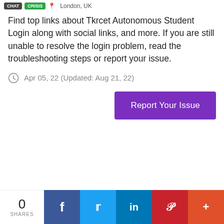CRISIS  London, UK
Find top links about Tkrcet Autonomous Student Login along with social links, and more. If you are still unable to resolve the login problem, read the troubleshooting steps or report your issue.
Apr 05, 22 (Updated: Aug 21, 22)
Report Your Issue
0 SHARES  f  t  in  P  +